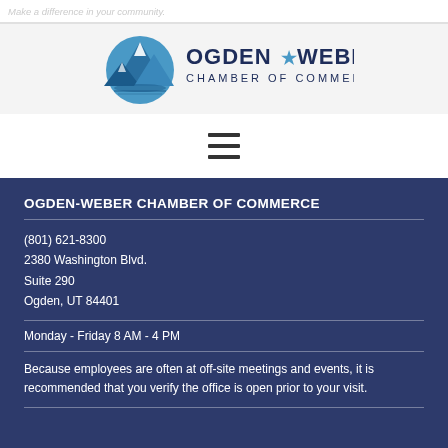Make a difference in your community.
[Figure (logo): Ogden Weber Chamber of Commerce logo with mountain graphic and star]
[Figure (other): Hamburger navigation menu icon (three horizontal lines)]
OGDEN-WEBER CHAMBER OF COMMERCE
(801) 621-8300
2380 Washington Blvd.
Suite 290
Ogden, UT 84401
Monday - Friday 8 AM - 4 PM
Because employees are often at off-site meetings and events, it is recommended that you verify the office is open prior to your visit.